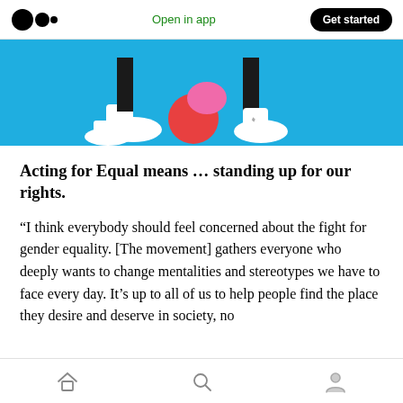Open in app  Get started
[Figure (illustration): Colorful illustration on blue background showing cartoon legs and feet with sneakers, a red ball, and pink/black clothing pieces]
Acting for Equal means … standing up for our rights.
“I think everybody should feel concerned about the fight for gender equality. [The movement] gathers everyone who deeply wants to change mentalities and stereotypes we have to face every day. It’s up to all of us to help people find the place they desire and deserve in society, no
Home  Search  Profile